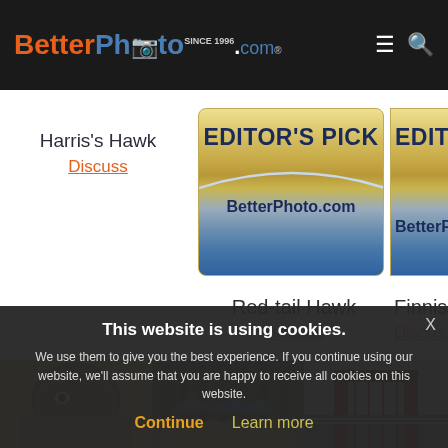BetterPhoto.com
Harris's Hawk
Discuss
[Figure (illustration): Editor's Pick badge with gold gradient top and blue gradient bottom, text EDITOR'S PICK and BetterPhoto.com]
[Figure (illustration): Editor's Pick badge (partially visible), same style as adjacent badge]
Red-tail Hawk
Discuss
Finnish Gos...
Discuss
[Figure (photo): Close-up photo of a hawk with detailed feathers, warm beige/brown tones]
[Figure (photo): Forest scene with blue tarps or structures among autumn trees]
[Figure (photo): Red bridge/structure over road or railway, partially visible]
This website is using cookies.
We use them to give you the best experience. If you continue using our website, we'll assume that you are happy to receive all cookies on this website.
Continue   Learn more